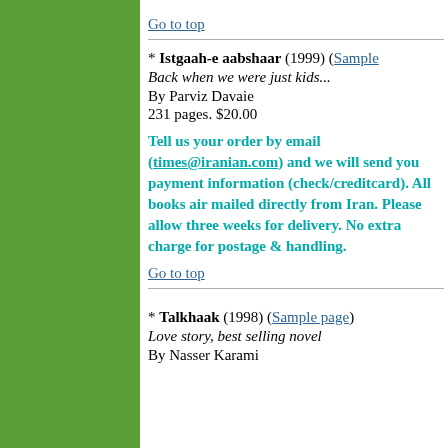Go to top
* Istgaah-e aabshaar (1999) (Sample  Back when we were just kids... By Parviz Davaie 231 pages. $20.00
Tell us your order by email (times@iranian.com) and we will send you payment information (check/creditcard). All books air mailed directly from Iran. Please allow three weeks for delivery. No extra charge for postage & handling.
Go to top
* Talkhaak (1998) (Sample page) Love story, best selling novel By Nasser Karami